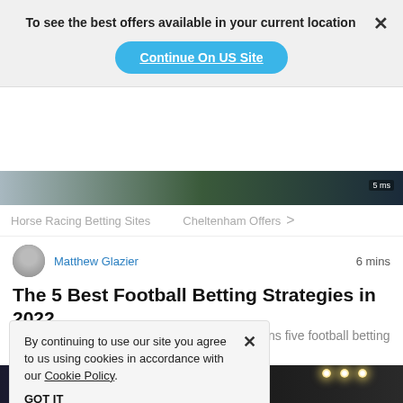To see the best offers available in your current location
Continue On US Site
Horse Racing Betting Sites    Cheltenham Offers  >
[Figure (photo): Football match header image strip]
Matthew Glazier   6 mins
The 5 Best Football Betting Strategies in 2022
Football betting expert Matthew Glazier explains five football betting strategy tips to help punters...
By continuing to use our site you agree to us using cookies in accordance with our Cookie Policy.
GOT IT
[Figure (photo): Football stadium night image with scoreboard showing 90:00]